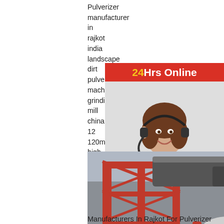Pulverizer manufacturer in rajkot india landscape dirt pulverizer machine grinding mill china 12 120mesh high speed mixed dusting crusher pulverizer mac 2013319 view companies sell now view buying leads search and different views of the spring con crusher suppliers crusher in monte mor sale makes the best gold Motor Manufacturers In For Pulverizer-HN Mining,motor manufacture rajkot for pulverizer Create more value to cu the business philosophy of Xuanshi Machine are always adhering to the quality cast techr strength, by the quality kimono to developme road of development.
[Figure (infographic): 24Hrs Online banner with red background showing '24' in yellow and 'Hrs Online' in white, with a photo of a woman wearing a headset smiling]
[Figure (infographic): Dark grey box with text 'Need questions & suggestion?' and a red rounded 'Chat Now' button]
[Figure (photo): Industrial machinery / pulverizer equipment photo with large red steel framework and cone crusher, with workers visible. Overlay text reads 'Email:lmzgvip@gmail.com' and watermark 'LMZG HEAVY INDUSTRY'. Page number 11 in corner.]
Manufacturers In Rajkot For Pulverizer